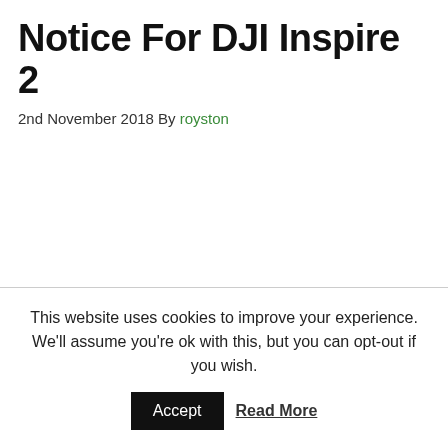Notice For DJI Inspire 2
2nd November 2018 By royston
This website uses cookies to improve your experience. We'll assume you're ok with this, but you can opt-out if you wish.